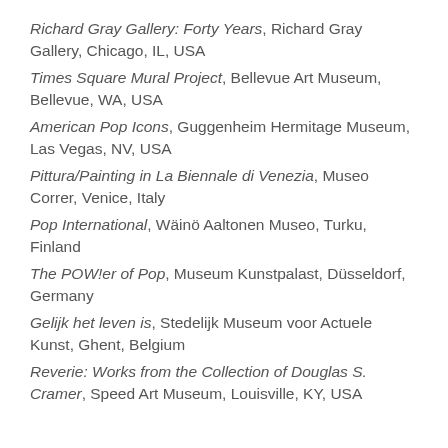Richard Gray Gallery: Forty Years, Richard Gray Gallery, Chicago, IL, USA
Times Square Mural Project, Bellevue Art Museum, Bellevue, WA, USA
American Pop Icons, Guggenheim Hermitage Museum, Las Vegas, NV, USA
Pittura/Painting in La Biennale di Venezia, Museo Correr, Venice, Italy
Pop International, Wäinö Aaltonen Museo, Turku, Finland
The POW!er of Pop, Museum Kunstpalast, Düsseldorf, Germany
Gelijk het leven is, Stedelijk Museum voor Actuele Kunst, Ghent, Belgium
Reverie: Works from the Collection of Douglas S. Cramer, Speed Art Museum, Louisville, KY, USA